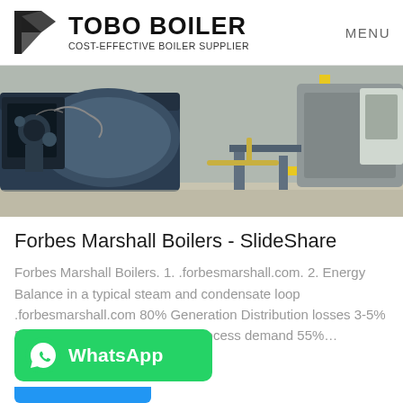TOBO BOILER — COST-EFFECTIVE BOILER SUPPLIER | MENU
[Figure (photo): Industrial boiler equipment with yellow gas pipes and control panels in a factory setting]
Forbes Marshall Boilers - SlideShare
Forbes Marshall Boilers. 1. .forbesmarshall.com. 2. Energy Balance in a typical steam and condensate loop .forbesmarshall.com 80% Generation Distribution losses 3-5% Boiler House Losses 15-18% Process demand 55%…
[Figure (logo): WhatsApp button — green rounded rectangle with WhatsApp icon and label 'WhatsApp']